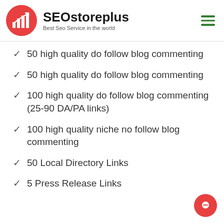SEOstoreplus — Best Seo Service in the world
50 high quality do follow blog commenting
50 high quality do follow blog commenting
100 high quality do follow blog commenting (25-90 DA/PA links)
100 high quality niche no follow blog commenting
50 Local Directory Links
5 Press Release Links